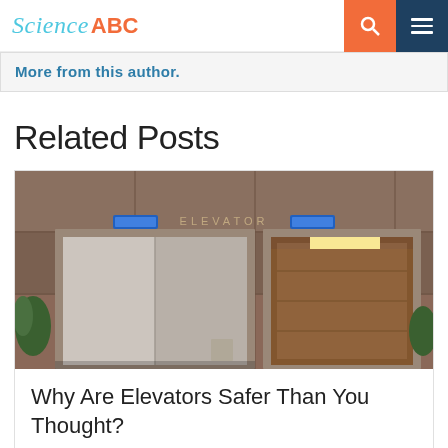Science ABC
More from this author.
Related Posts
[Figure (photo): Two elevator doors on a marble/stone wall, one closed and one open showing interior wood paneling and lighting, with an 'ELEVATOR' sign above]
Why Are Elevators Safer Than You Thought?
September 8, 2015